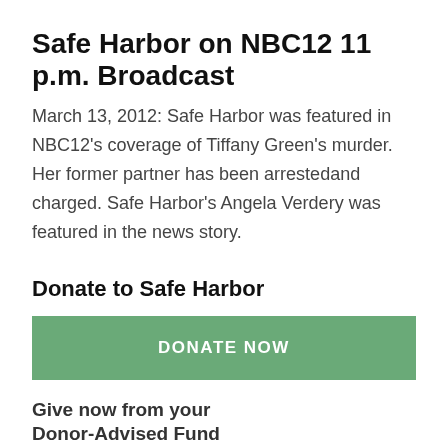Safe Harbor on NBC12 11 p.m. Broadcast
March 13, 2012: Safe Harbor was featured in NBC12's coverage of Tiffany Green's murder. Her former partner has been arrestedand charged. Safe Harbor's Angela Verdery was featured in the news story.
Donate to Safe Harbor
[Figure (other): Green button with bold white text reading DONATE NOW]
Give now from your Donor-Advised Fund